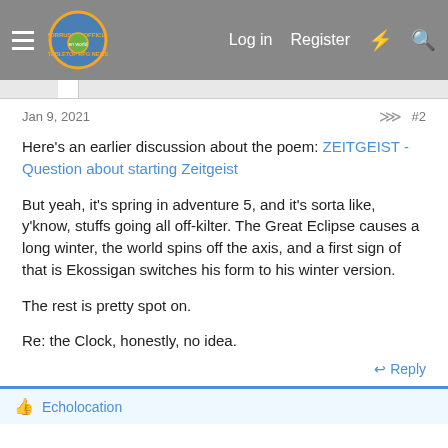Morrus' Unofficial Tabletop RPG News — Log in  Register
Jan 9, 2021  #2
Here's an earlier discussion about the poem: ZEITGEIST - Question about starting Zeitgeist
But yeah, it's spring in adventure 5, and it's sorta like, y'know, stuffs going all off-kilter. The Great Eclipse causes a long winter, the world spins off the axis, and a first sign of that is Ekossigan switches his form to his winter version.
The rest is pretty spot on.
Re: the Clock, honestly, no idea.
Reply
Echolocation